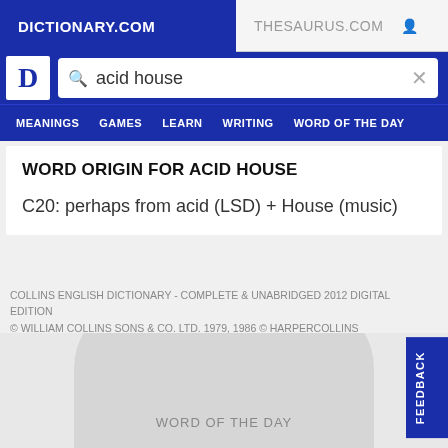DICTIONARY.COM   THESAURUS.COM
WORD ORIGIN FOR ACID HOUSE
C20: perhaps from acid (LSD) + House (music)
COLLINS ENGLISH DICTIONARY - COMPLETE & UNABRIDGED 2012 DIGITAL EDITION
© WILLIAM COLLINS SONS & CO. LTD. 1979, 1986 © HARPERCOLLINS PUBLISHERS 1998, 2000, 2003, 2005, 2006, 2007, 2009, 2012
WORD OF THE DAY